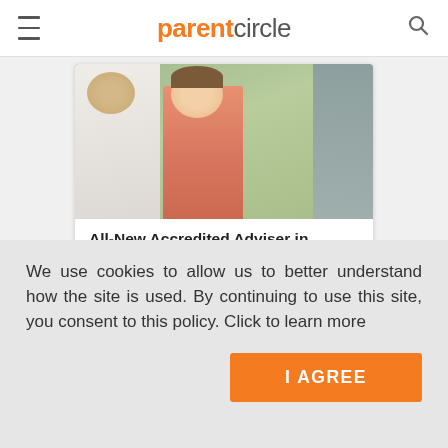parentcircle
[Figure (photo): Two people in conversation — one person seen from behind in white, another smiling woman in an orange/coral shirt, with green outdoor background and glass windows]
All-New Accredited Adviser in Insurance (AAI®)
The Institute
Open >
We use cookies to allow us to better understand how the site is used. By continuing to use this site, you consent to this policy. Click to learn more
I AGREE